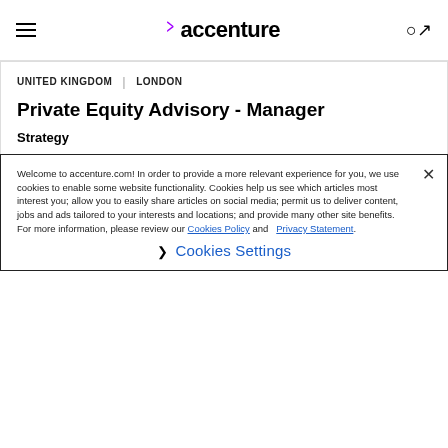accenture
UNITED KINGDOM | LONDON
Private Equity Advisory - Manager
Strategy
Posted 6 days ago
UNITED KINGDOM | LONDON
Mergers and Acquisitions Consultant
Welcome to accenture.com! In order to provide a more relevant experience for you, we use cookies to enable some website functionality. Cookies help us see which articles most interest you; allow you to easily share articles on social media; permit us to deliver content, jobs and ads tailored to your interests and locations; and provide many other site benefits. For more information, please review our Cookies Policy and Privacy Statement.
Cookies Settings